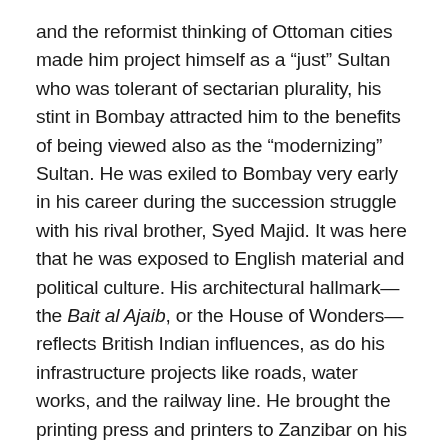and the reformist thinking of Ottoman cities made him project himself as a “just” Sultan who was tolerant of sectarian plurality, his stint in Bombay attracted him to the benefits of being viewed also as the “modernizing” Sultan. He was exiled to Bombay very early in his career during the succession struggle with his rival brother, Syed Majid. It was here that he was exposed to English material and political culture. His architectural hallmark—the Bait al Ajaib, or the House of Wonders—reflects British Indian influences, as do his infrastructure projects like roads, water works, and the railway line. He brought the printing press and printers to Zanzibar on his return from Bombay. However, he had his own special usage for this modern technology. He undertook the printing of the Kitab Qamus al Sharia on Ibadi theology and law by the Omani scholar Jumayyil b. Khamis b. Lafi al Sa’di. The